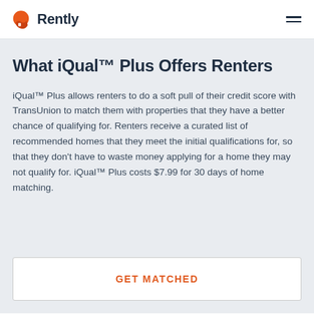Rently
What iQual™ Plus Offers Renters
iQual™ Plus allows renters to do a soft pull of their credit score with TransUnion to match them with properties that they have a better chance of qualifying for. Renters receive a curated list of recommended homes that they meet the initial qualifications for, so that they don't have to waste money applying for a home they may not qualify for. iQual™ Plus costs $7.99 for 30 days of home matching.
GET MATCHED